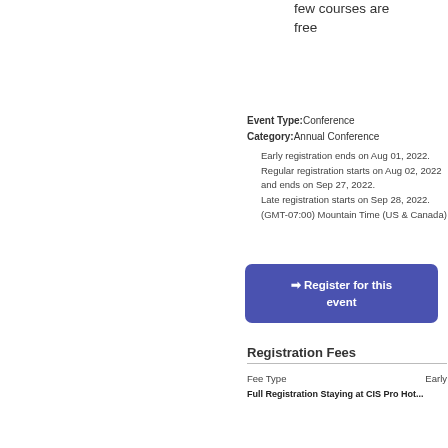few courses are free
Event Type:Conference
Category:Annual Conference
Early registration ends on Aug 01, 2022.
Regular registration starts on Aug 02, 2022 and ends on Sep 27, 2022.
Late registration starts on Sep 28, 2022.
(GMT-07:00) Mountain Time (US & Canada)
Register for this event
Registration Fees
| Fee Type | Early |
| --- | --- |
| Full Registration Staying at CIS Pro Hot... |  |